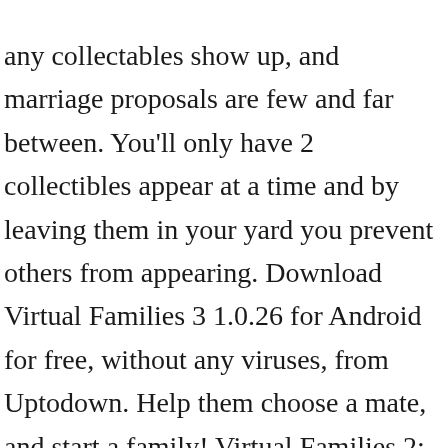any collectables show up, and marriage proposals are few and far between. You'll only have 2 collectibles appear at a time and by leaving them in your yard you prevent others from appearing. Download Virtual Families 3 1.0.26 for Android for free, without any viruses, from Uptodown. Help them choose a mate, and start a family! Virtual Families 2: Our Dream House Lots of cash with collectibles I know that pretty much everyone knows that when you put two people onto a collectible, you get extra cash but there is a simpler way to ensure that it always works: Put your little